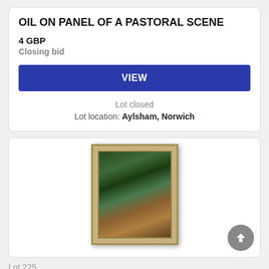OIL ON PANEL OF A PASTORAL SCENE
4 GBP
Closing bid
VIEW
Lot closed
Lot location: Aylsham, Norwich
[Figure (photo): A framed oil painting of a pastoral scene with trees and landscape, in a gold/beige ornate frame, displayed on a wooden surface.]
Lot 225